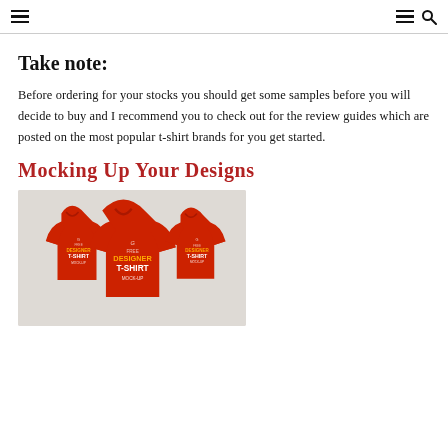≡  ≡ 🔍
Take note:
Before ordering for your stocks you should get some samples before you will decide to buy and I recommend you to check out for the review guides which are posted on the most popular t-shirt brands for you get started.
Mocking Up Your Designs
[Figure (photo): Three red designer t-shirts displayed as a mockup with 'FREE DESIGNER T-SHIRT MOCK-UP' text printed on them, on a light gray background.]